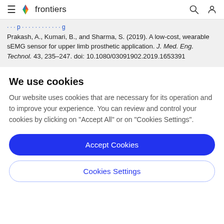frontiers
Prakash, A., Kumari, B., and Sharma, S. (2019). A low-cost, wearable sEMG sensor for upper limb prosthetic application. J. Med. Eng. Technol. 43, 235–247. doi: 10.1080/03091902.2019.1653391
We use cookies
Our website uses cookies that are necessary for its operation and to improve your experience. You can review and control your cookies by clicking on "Accept All" or on "Cookies Settings".
Accept Cookies
Cookies Settings